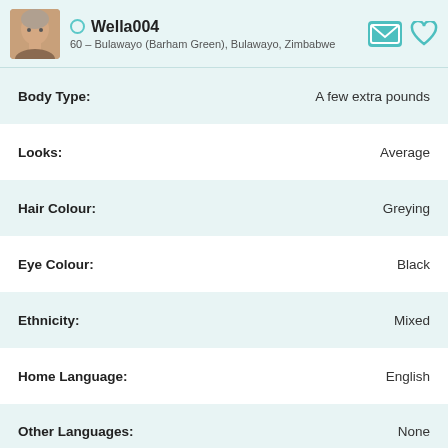Wella004 — 60 – Bulawayo (Barham Green), Bulawayo, Zimbabwe
| Attribute | Value |
| --- | --- |
| Body Type: | A few extra pounds |
| Looks: | Average |
| Hair Colour: | Greying |
| Eye Colour: | Black |
| Ethnicity: | Mixed |
| Home Language: | English |
| Other Languages: | None |
| Religion: | Christian / Other |